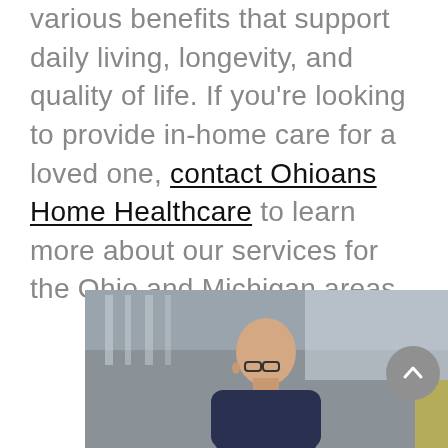various benefits that support daily living, longevity, and quality of life. If you're looking to provide in-home care for a loved one, contact Ohioans Home Healthcare to learn more about our services for the Ohio and Michigan areas.
[Figure (photo): Elderly bald man with glasses photographed from above/side, in a healthcare or office setting]